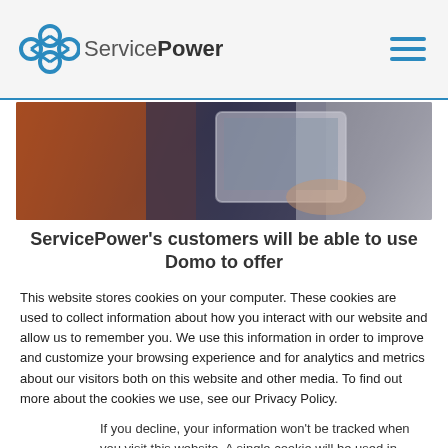ServicePower
[Figure (photo): Person holding a tablet/device, viewed from above, dark and warm toned background]
ServicePower’s customers will be able to use Domo to offer field service performance metrics and scorecards in real
This website stores cookies on your computer. These cookies are used to collect information about how you interact with our website and allow us to remember you. We use this information in order to improve and customize your browsing experience and for analytics and metrics about our visitors both on this website and other media. To find out more about the cookies we use, see our Privacy Policy.
If you decline, your information won’t be tracked when you visit this website. A single cookie will be used in your browser to remember your preference not to be tracked.